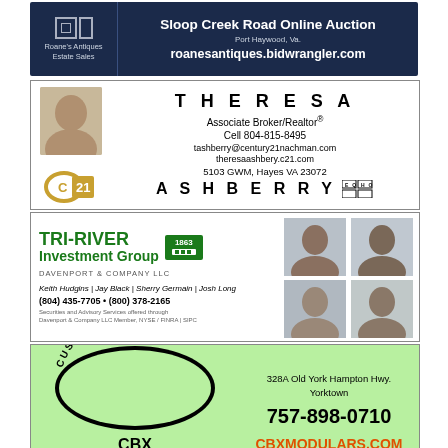[Figure (infographic): Roane's Antiques Estate Sales – Sloop Creek Road Online Auction, Port Haywood, Va. roanesantiques.bidwrangler.com – dark navy banner ad]
[Figure (infographic): Theresa Ashberry, Associate Broker/Realtor, Century 21 Nachman Realty – business card ad with photo]
[Figure (infographic): Tri-River Investment Group, Davenport & Company LLC – investment group ad with four headshots]
[Figure (infographic): CBX Yorktown VA Express LLC – Custom Builders Modular Homes ad, green background, 757-898-0710, CBXMODULARS.COM]
[Figure (infographic): Life Close to Nature – Sharing Our Earth – nature organization ad with circular logo badges]